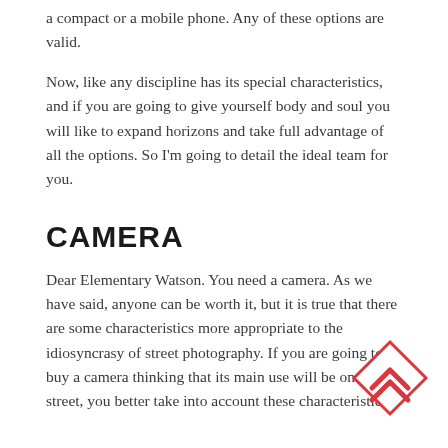a compact or a mobile phone. Any of these options are valid.
Now, like any discipline has its special characteristics, and if you are going to give yourself body and soul you will like to expand horizons and take full advantage of all the options. So I'm going to detail the ideal team for you.
CAMERA
Dear Elementary Watson. You need a camera. As we have said, anyone can be worth it, but it is true that there are some characteristics more appropriate to the idiosyncrasy of street photography. If you are going to buy a camera thinking that its main use will be on the street, you better take into account these characteristics: